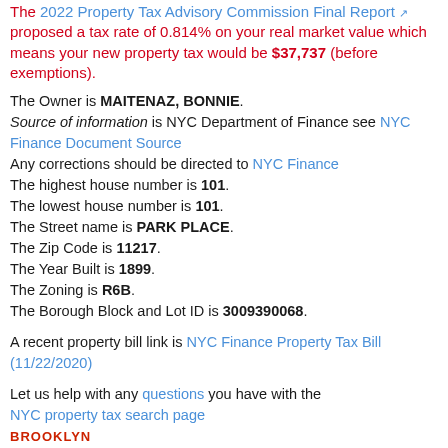The 2022 Property Tax Advisory Commission Final Report proposed a tax rate of 0.814% on your real market value which means your new property tax would be $37,737 (before exemptions).
The Owner is MAITENAZ, BONNIE. Source of information is NYC Department of Finance see NYC Finance Document Source Any corrections should be directed to NYC Finance The highest house number is 101. The lowest house number is 101. The Street name is PARK PLACE. The Zip Code is 11217. The Year Built is 1899. The Zoning is R6B. The Borough Block and Lot ID is 3009390068.
A recent property bill link is NYC Finance Property Tax Bill (11/22/2020)
Let us help with any questions you have with the NYC property tax search page